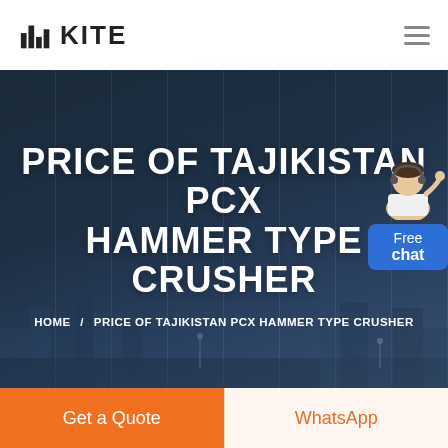[Figure (logo): KITE company logo with building/bar chart icon and bold text KITE]
PRICE OF TAJIKISTAN PCX HAMMER TYPE CRUSHER
HOME / PRICE OF TAJIKISTAN PCX HAMMER TYPE CRUSHER
[Figure (illustration): Free chat widget with customer service agent illustration and blue bubble showing Free chat]
Get a Quote
WhatsApp